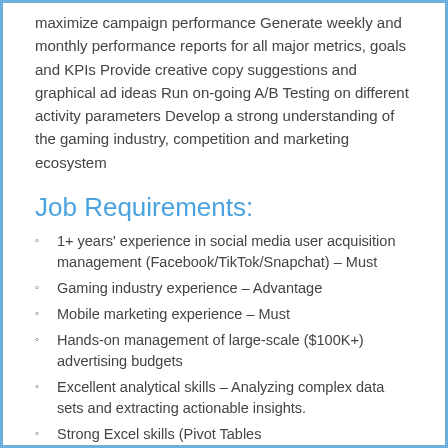maximize campaign performance Generate weekly and monthly performance reports for all major metrics, goals and KPIs Provide creative copy suggestions and graphical ad ideas Run on-going A/B Testing on different activity parameters Develop a strong understanding of the gaming industry, competition and marketing ecosystem
Job Requirements:
1+ years' experience in social media user acquisition management (Facebook/TikTok/Snapchat) – Must
Gaming industry experience – Advantage
Mobile marketing experience – Must
Hands-on management of large-scale ($100K+) advertising budgets
Excellent analytical skills – Analyzing complex data sets and extracting actionable insights.
Strong Excel skills (Pivot Tables